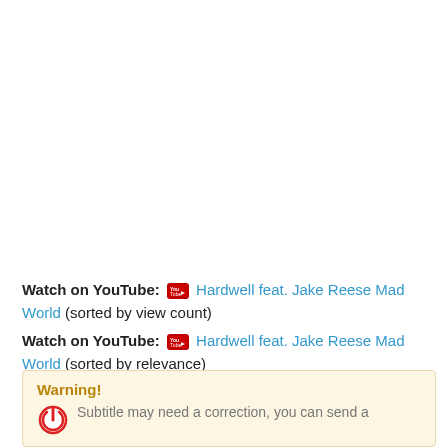Watch on YouTube: [icon] Hardwell feat. Jake Reese Mad World (sorted by view count)
Watch on YouTube: [icon] Hardwell feat. Jake Reese Mad World (sorted by relevance)
Warning! Subtitle may need a correction, you can send a